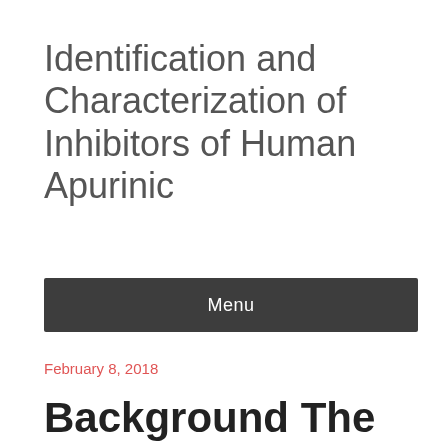Identification and Characterization of Inhibitors of Human Apurinic
Menu
February 8, 2018
Background The importance of the apurinic